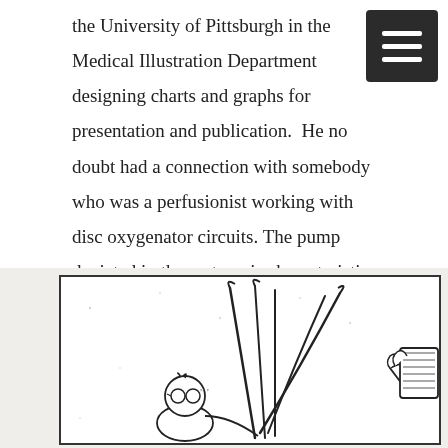the University of Pittsburgh in the Medical Illustration Department designing charts and graphs for presentation and publication.  He no doubt had a connection with somebody who was a perfusionist working with disc oxygenator circuits. The pump depicted in the cartoon is characteristic of the kind used in 1967 along with the clear depiction of a disc oxygenator.
[Figure (illustration): A cartoon/illustration showing a figure with tubes or lines spraying upward, and a hand holding what appears to be a device on the right side. The scene is enclosed in a rectangular bordered frame.]